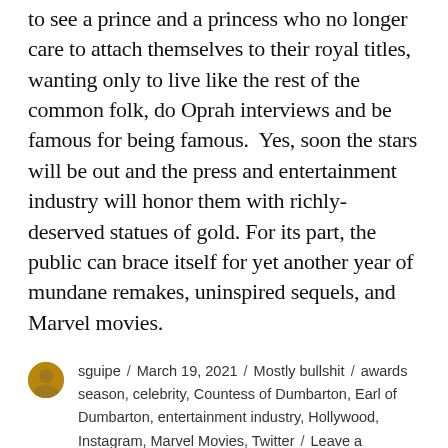to see a prince and a princess who no longer care to attach themselves to their royal titles, wanting only to live like the rest of the common folk, do Oprah interviews and be famous for being famous.  Yes, soon the stars will be out and the press and entertainment industry will honor them with richly-deserved statues of gold. For its part, the public can brace itself for yet another year of mundane remakes, uninspired sequels, and Marvel movies.
sguipe / March 19, 2021 / Mostly bullshit / awards season, celebrity, Countess of Dumbarton, Earl of Dumbarton, entertainment industry, Hollywood, Instagram, Marvel Movies, Twitter / Leave a comment